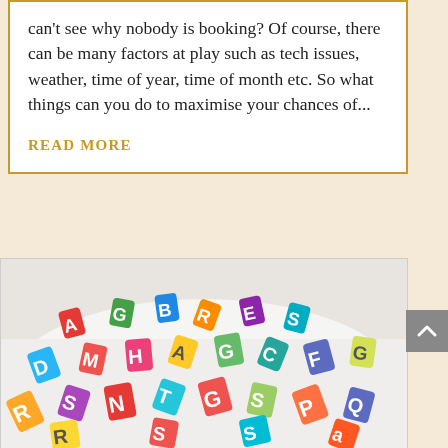can't see why nobody is booking? Of course, there can be many factors at play such as tech issues, weather, time of year, time of month etc. So what things can you do to maximise your chances of...
READ MORE
[Figure (photo): A scattered collection of colorful foam alphabet letters and numbers on a white surface, viewed from above at a slight angle.]